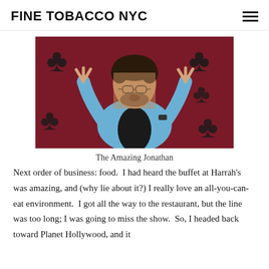FINE TOBACCO NYC
[Figure (photo): A man in a light blue jacket standing in front of a red background with black club card suit symbols, looking upward with both hands raised, fingers pointing up]
The Amazing Jonathan
Next order of business: food.  I had heard the buffet at Harrah's was amazing, and (why lie about it?) I really love an all-you-can-eat environment.  I got all the way to the restaurant, but the line was too long; I was going to miss the show.  So, I headed back toward Planet Hollywood, and it